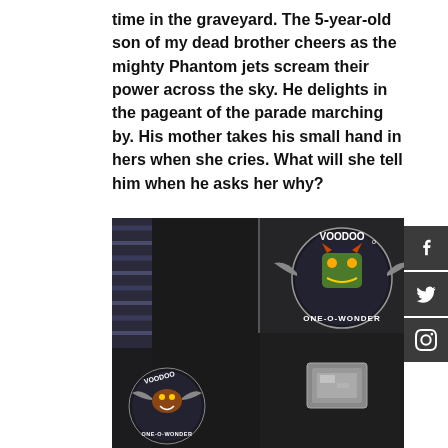time in the graveyard. The 5-year-old son of my dead brother cheers as the mighty Phantom jets scream their power across the sky. He delights in the pageant of the parade marching by. His mother takes his small hand in hers when she cries. What will she tell him when he asks her why?
[Figure (photo): Two dark photographs side by side showing military flight jackets with 'Voodoo One-O-Wonder' squadron patches featuring a stylized demon/monster face with wings.]